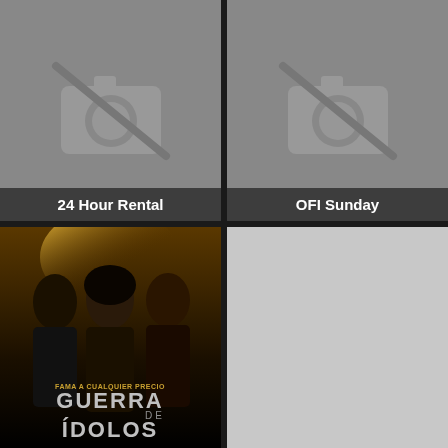[Figure (photo): Placeholder image with no-photo camera icon, gray background, labeled '24 Hour Rental']
[Figure (photo): Placeholder image with no-photo camera icon, gray background, labeled 'OFI Sunday']
[Figure (photo): Movie poster for 'Guerra de Idolos' showing three actors, text reads 'FAMA A CUALQUIER PRECIO / GUERRA DE IDOLOS']
[Figure (photo): Light gray placeholder image, no label visible]